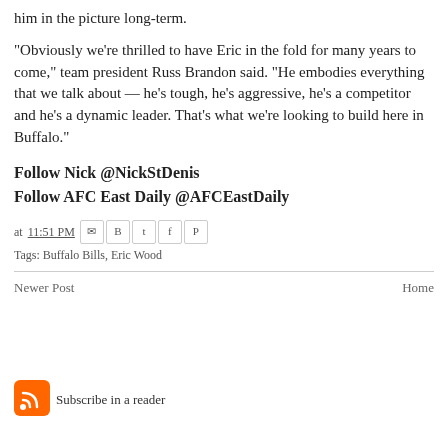him in the picture long-term.
"Obviously we're thrilled to have Eric in the fold for many years to come," team president Russ Brandon said. "He embodies everything that we talk about — he's tough, he's aggressive, he's a competitor and he's a dynamic leader. That's what we're looking to build here in Buffalo."
Follow Nick @NickStDenis
Follow AFC East Daily @AFCEastDaily
at 11:51 PM
Tags: Buffalo Bills, Eric Wood
Newer Post	Home
[Figure (logo): RSS feed orange icon with white signal waves]
Subscribe in a reader